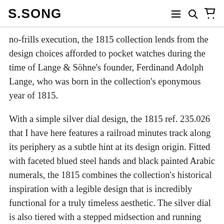S.SONG
no-frills execution, the 1815 collection lends from the design choices afforded to pocket watches during the time of Lange & Söhne's founder, Ferdinand Adolph Lange, who was born in the collection's eponymous year of 1815.
With a simple silver dial design, the 1815 ref. 235.026 that I have here features a railroad minutes track along its periphery as a subtle hint at its design origin. Fitted with faceted blued steel hands and black painted Arabic numerals, the 1815 combines the collection's historical inspiration with a legible design that is incredibly functional for a truly timeless aesthetic. The silver dial is also tiered with a stepped midsection and running seconds subdial at 6 o'clock to provide yet another